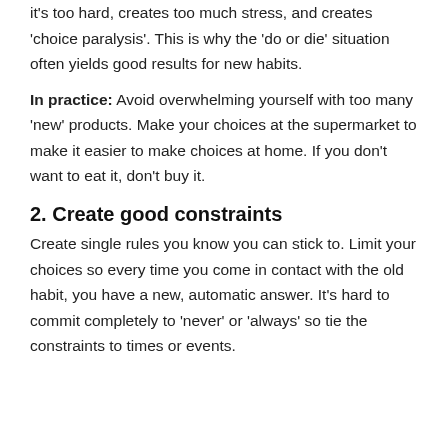it's too hard, creates too much stress, and creates 'choice paralysis'. This is why the 'do or die' situation often yields good results for new habits.
In practice: Avoid overwhelming yourself with too many 'new' products. Make your choices at the supermarket to make it easier to make choices at home. If you don't want to eat it, don't buy it.
2. Create good constraints
Create single rules you know you can stick to. Limit your choices so every time you come in contact with the old habit, you have a new, automatic answer. It's hard to commit completely to 'never' or 'always' so tie the constraints to times or events.